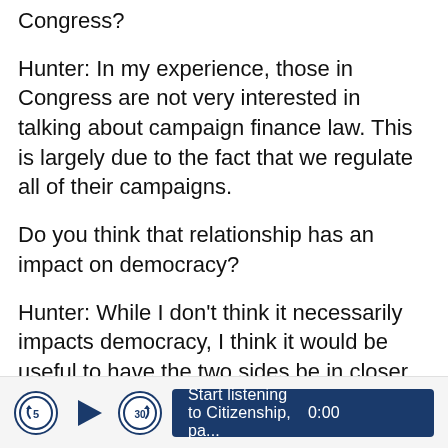Congress?
Hunter: In my experience, those in Congress are not very interested in talking about campaign finance law. This is largely due to the fact that we regulate all of their campaigns.
Do you think that relationship has an impact on democracy?
Hunter: While I don't think it necessarily impacts democracy, I think it would be useful to have the two sides be in closer communication.
[Figure (other): Audio player bar with skip-back 5s, play, skip-forward 30s buttons and a dark blue button labeled 'Start listening to Citizenship, pa... 0:00']